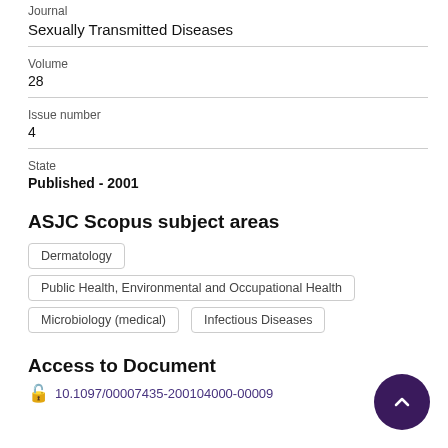Journal
Sexually Transmitted Diseases
Volume
28
Issue number
4
State
Published - 2001
ASJC Scopus subject areas
Dermatology
Public Health, Environmental and Occupational Health
Microbiology (medical)
Infectious Diseases
Access to Document
10.1097/00007435-200104000-00009